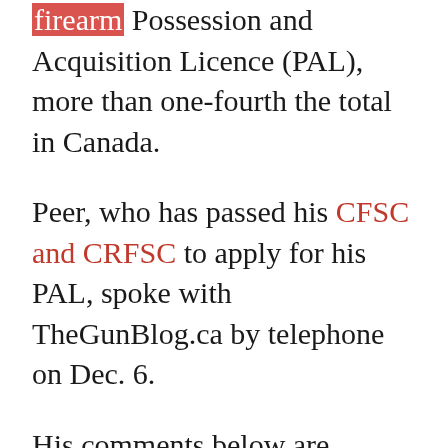firearm Possession and Acquisition Licence (PAL), more than one-fourth the total in Canada.
Peer, who has passed his CFSC and CRFSC to apply for his PAL, spoke with TheGunBlog.ca by telephone on Dec. 6.
His comments below are presented in order, under headings by TheGunBlog.ca.